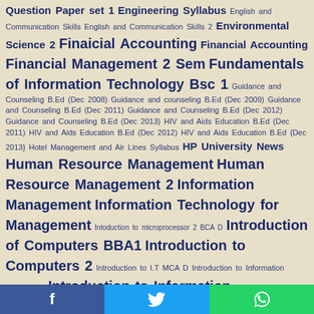Question Paper set 1 Engineering Syllabus English and Communication Skills English and Communication Skills 2 Environmental Science 2 Finaicial Accounting Financial Accounting Financial Management 2 Sem Fundamentals of Information Technology Bsc 1 Guidance and Counseling B.Ed (Dec 2008) Guidance and counseling B.Ed (Dec 2009) Guidance and Counseling B.Ed (Dec 2011) Guidance and Counseling B.Ed (Dec 2012) Guidance and Counseling B.Ed (Dec 2013) HIV and Aids Education B.Ed (Dec 2011) HIV and Aids Education B.Ed (Dec 2012) HIV and Aids Education B.Ed {Dec 2013} Hotel Management and Air Lines Syllabus HP University News Human Resource Management Human Resource Management 2 Information Management Information Technology for Management Intoduction to microprocessor 2 BCA D Introduction of Computers BBA1 Introduction to Computers 2 Introduction to I.T MCA D Introduction to Information Technology Introduction to Information Technology(BCA) Kurukshetra University News Lecture 20 Clipping – Lines And Polygons Macro Economics 2 Management Syllabus Managerial Economics Marketing Management 2 Master Of Technology M-Tech Syllabus MBA Papers MCA Notes MCA Question Papers Mercantile Law 2 Metal Cutting Question Paper Metal Forming Question Paper Micro Economics Network Security NEURAL NETWORKS & FUZZY LOGIC Object Oriented Programming in C++ Object Oriented Programming in Cpp OOP CPP 2 Operating system (BCA) Operating System Bsc IT 1 Organisational Behaviour Organization Behaviour 2 Other Universities Others Panjab University News PCM 2 BCA D PGDCA Pharmacy Syllabus Principles and Practices of Management principles of management 2
Facebook Twitter WhatsApp